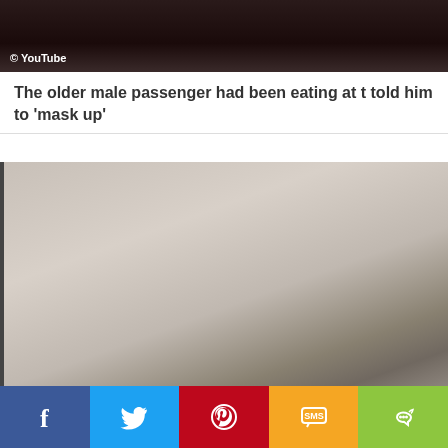[Figure (photo): Dark blurry video frame with YouTube copyright credit overlay at bottom left]
The older male passenger had been eating at t told him to 'mask up'
[Figure (photo): Blurry close-up photo of airplane interior ceiling/overhead compartment area, showing beige and grey surfaces with dark panel edge]
[Figure (infographic): Social share bar with five colored buttons: Facebook (blue), Twitter (light blue), Pinterest (red), SMS (orange/yellow), Share (green)]